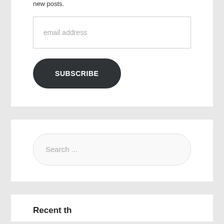new posts.
email address
SUBSCRIBE
Search ...
Recent th...